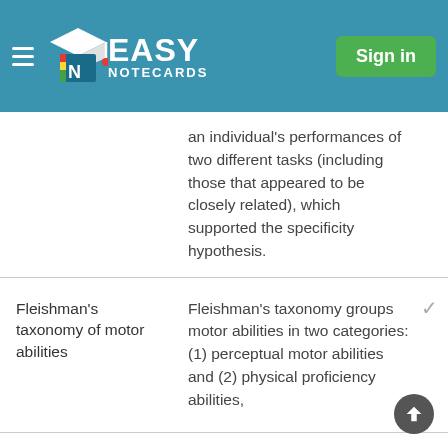Easy Notecards — Sign in
an individual's performances of two different tasks (including those that appeared to be closely related), which supported the specificity hypothesis.
| Term | Definition |
| --- | --- |
| Fleishman's taxonomy of motor abilities | Fleishman's taxonomy groups motor abilities in two categories: (1) perceptual motor abilities and (2) physical proficiency abilities, |
| Control Precision | Perceptual Motor Ability; Ability for highly controlled movement adjustments, especially those involving larger muscle groups |